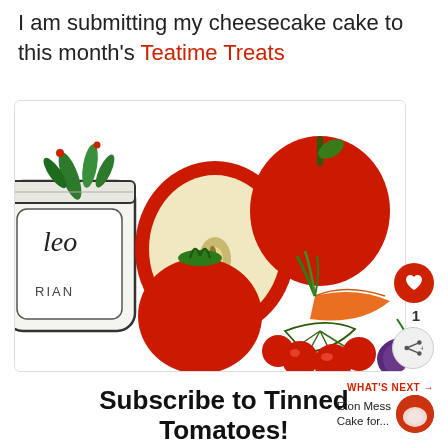I am submitting my cheesecake cake to this month's Teatime Treats
[Figure (illustration): Colorful illustrated vegetables and fruits including apples (cut open), cherry tomatoes on vine, a large tomato, a carrot, strawberries, and a jar labeled 'RIAN' with herbs on top. Also a heart/like button with count '1' and a share button on the right side.]
WHAT'S NEXT → Eton Mess Cake for...
Subscribe to Tinned Tomatoes!